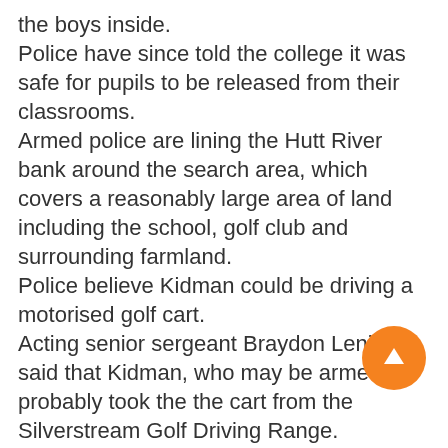the boys inside. Police have since told the college it was safe for pupils to be released from their classrooms. Armed police are lining the Hutt River bank around the search area, which covers a reasonably large area of land including the school, golf club and surrounding farmland. Police believe Kidman could be driving a motorised golf cart. Acting senior sergeant Braydon Leniham said that Kidman, who may be armed, probably took the the cart from the Silverstream Golf Driving Range. Royal Wellington Golf Club employee Kevin McAllister said golfers from the club had earlier been told not to go out on the course but had since been given the all-clear. "He (the suspect) took a quad bike from the driving range and they can&#8217;t find him or